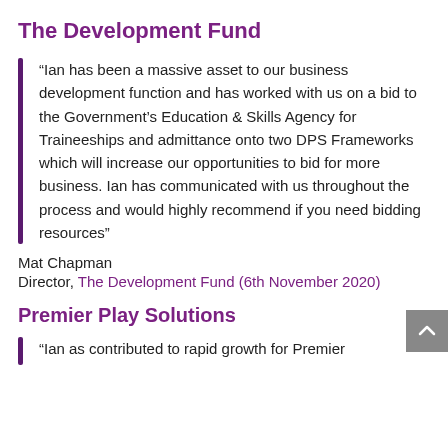The Development Fund
“Ian has been a massive asset to our business development function and has worked with us on a bid to the Government’s Education & Skills Agency for Traineeships and admittance onto two DPS Frameworks which will increase our opportunities to bid for more business. Ian has communicated with us throughout the process and would highly recommend if you need bidding resources”
Mat Chapman
Director, The Development Fund (6th November 2020)
Premier Play Solutions
“Ian as contributed to rapid growth for Premier